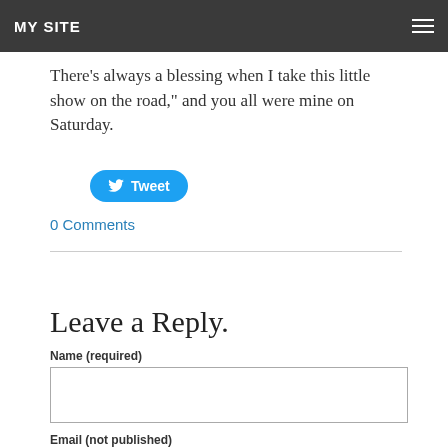MY SITE
There's always a blessing when I take this little  show on the road," and you all were mine on Saturday.
[Figure (other): Twitter Tweet button (blue rounded button with bird icon and 'Tweet' text)]
0 Comments
Leave a Reply.
Name (required)